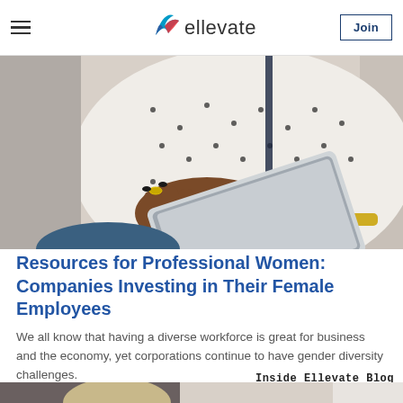ellevate — Join
[Figure (photo): Close-up photo of a woman's hands holding a tablet, wearing a white polka-dot blouse and gold bracelet]
Resources for Professional Women: Companies Investing in Their Female Employees
We all know that having a diverse workforce is great for business and the economy, yet corporations continue to have gender diversity challenges.
Inside Ellevate Blog
[Figure (photo): Partial photo of a person in a light interior setting]